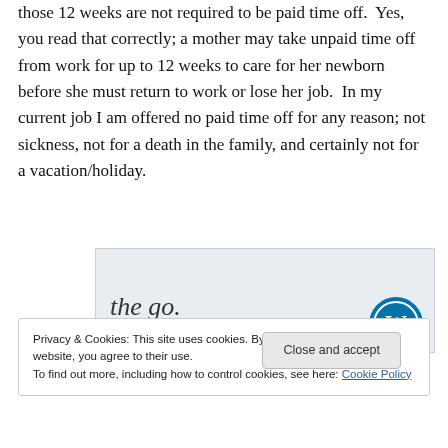those 12 weeks are not required to be paid time off.  Yes, you read that correctly; a mother may take unpaid time off from work for up to 12 weeks to care for her newborn before she must return to work or lose her job.  In my current job I am offered no paid time off for any reason; not sickness, not for a death in the family, and certainly not for a vacation/holiday.
[Figure (screenshot): WordPress app advertisement banner showing 'the go.' text in italic serif font, with 'GET THE APP' text and WordPress logo icon]
Privacy & Cookies: This site uses cookies. By continuing to use this website, you agree to their use.
To find out more, including how to control cookies, see here: Cookie Policy
Close and accept